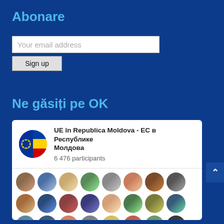Abonare
Your email address
Sign up
Ne găsiți pe OK
[Figure (infographic): OK social network widget showing 'UE în Republica Moldova - EC в Республике Молдова' group with 6 476 participants and a grid of circular profile photo avatars]
UE în Republica Moldova - EC в Республике Молдова
6 476 participants